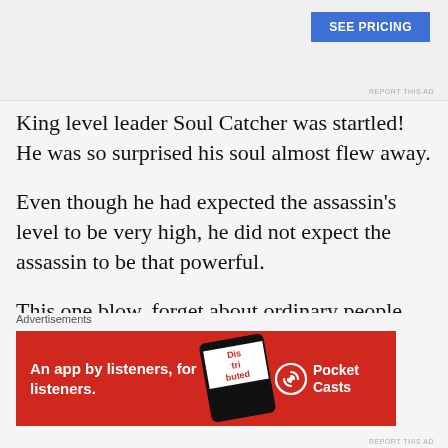[Figure (screenshot): Top advertisement area with a blue 'SEE PRICING' button and 'REPORT THIS AD' text]
King level leader Soul Catcher was startled! He was so surprised his soul almost flew away.
Even though he had expected the assassin's level to be very high, he did not expect the assassin to be that powerful.
This one blow, forget about ordinary people, even a king level master like himself was looking at a sixty
Advertisements
[Figure (screenshot): Red advertisement banner for Pocket Casts app: 'An app by listeners, for listeners.' with phone graphic and Pocket Casts logo]